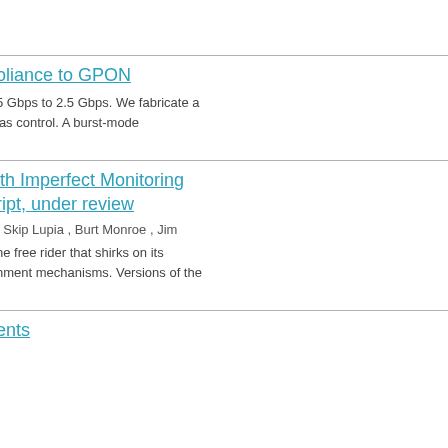oliance to GPON
5 Gbps to 2.5 Gbps. We fabricate a ias control. A burst-mode
ith Imperfect Monitoring ript, under review
, Skip Lupia , Burt Monroe , Jim
he free rider that shirks on its hment mechanisms. Versions of the
ents